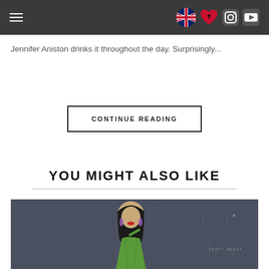[Navigation header with hamburger menu, UK flag icon, Albanian flag heart icon, Instagram icon, YouTube icon]
Jennifer Aniston drinks it throughout the day. Surprisingly...
CONTINUE READING
YOU MIGHT ALSO LIKE
[Figure (photo): Photo of Rihanna in a green sequined dress at a Fenty Beauty event, red carpet background with hexagonal pattern]